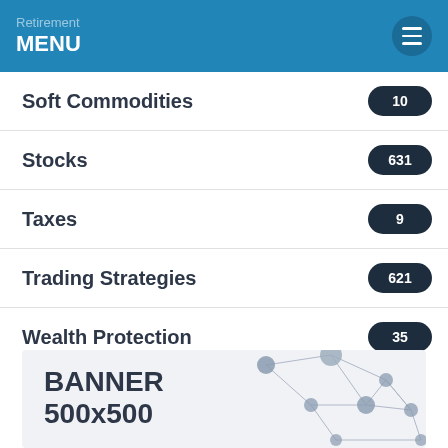Retirement / MENU
Soft Commodities 10
Stocks 631
Taxes 9
Trading Strategies 621
Wealth Protection 35
[Figure (infographic): Banner placeholder showing 'BANNER 500x500' text over a light grey background with a network/polygon node diagram on the right side]